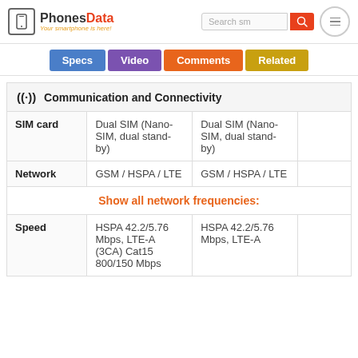PhonesData - Your smartphone is here!
Communication and Connectivity
|  | Column 1 | Column 2 | Column 3 |
| --- | --- | --- | --- |
| SIM card | Dual SIM (Nano-SIM, dual stand-by) | Dual SIM (Nano-SIM, dual stand-by) |  |
| Network | GSM / HSPA / LTE | GSM / HSPA / LTE |  |
| Show all network frequencies: |  |  |  |
| Speed | HSPA 42.2/5.76 Mbps, LTE-A (3CA) Cat15 800/150 Mbps | HSPA 42.2/5.76 Mbps, LTE-A |  |